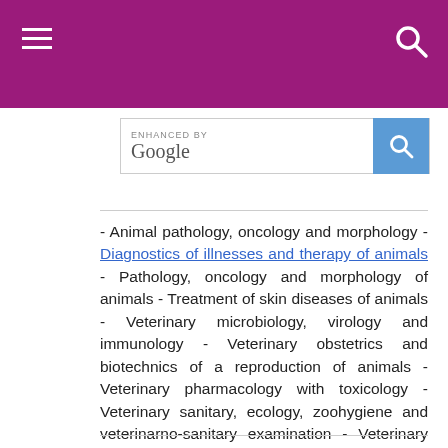[Figure (screenshot): Google enhanced search bar with blue search button]
- Animal pathology, oncology and morphology - Diagnostics of illnesses and therapy of animals - Pathology, oncology and morphology of animals - Treatment of skin diseases of animals - Veterinary microbiology, virology and immunology - Veterinary obstetrics and biotechnics of a reproduction of animals - Veterinary pharmacology with toxicology - Veterinary sanitary, ecology, zoohygiene and veterinarno-sanitary examination - Veterinary sciences - Veterinary surgery -